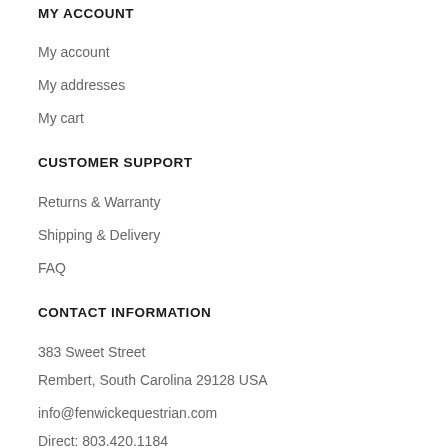MY ACCOUNT
My account
My addresses
My cart
CUSTOMER SUPPORT
Returns & Warranty
Shipping & Delivery
FAQ
CONTACT INFORMATION
383 Sweet Street
Rembert, South Carolina 29128 USA
info@fenwickequestrian.com
Direct: 803.420.1184